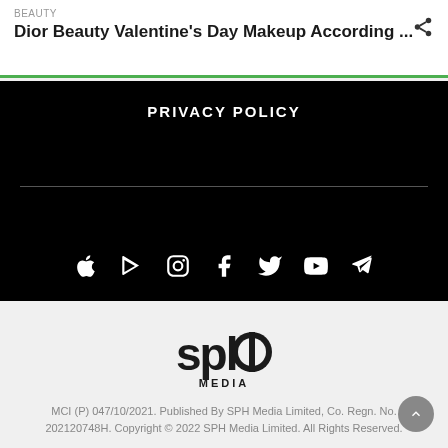BEAUTY
Dior Beauty Valentine's Day Makeup According ...
PRIVACY POLICY
[Figure (other): Row of social media icons: Apple, Google Play, Instagram, Facebook, Twitter, YouTube, Telegram — white icons on black background]
[Figure (logo): SPH Media logo — black text logo with stylized letters 'sph' and 'MEDIA' below]
MCI (P) 047/10/2021. Published By SPH Media Limited, Co. Regn. No. 202120748H. Copyright © 2022 SPH Media Limited. All Rights Reserved.